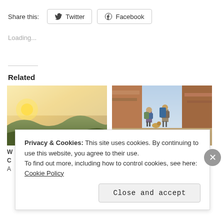Share this:
Twitter
Facebook
Loading...
Related
[Figure (photo): Landscape sunset view over hilly terrain with hazy golden sky]
[Figure (photo): Two hikers with backpacks and a dog on a rocky canyon trail]
Privacy & Cookies: This site uses cookies. By continuing to use this website, you agree to their use.
To find out more, including how to control cookies, see here: Cookie Policy
Close and accept